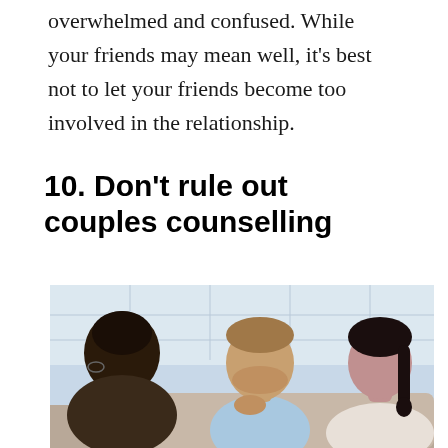overwhelmed and confused. While your friends may mean well, it's best not to let your friends become too involved in the relationship.
10. Don't rule out couples counselling
[Figure (photo): A couple in a counselling session, seated across from a therapist (seen from behind with dark hair). The man in a light blue shirt and the woman with a braided ponytail are looking toward each other and the counsellor in a bright, airy room.]